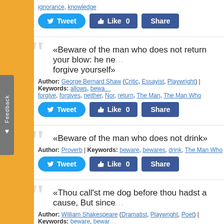ignorance, knowledge
Tweet | Like 0 | Share
«Beware of the man who does not return your blow: he ne... forgive yourself»
Author: George Bernard Shaw (Critic, Essayist, Playwright) | Keywords: allows, bewa... forgive, forgives, neither, Nor, return, The Man, The Man Who
Tweet | Like 0 | Share
«Beware of the man who does not drink»
Author: Proverb | Keywords: beware, bewares, drink, The Man Who
Tweet | Like 0 | Share
«Thou call'st me dog before thou hadst a cause, But since...»
Author: William Shakespeare (Dramatist, Playwright, Poet) | Keywords: beware, bewar...
Tweet | Like 0 | Share